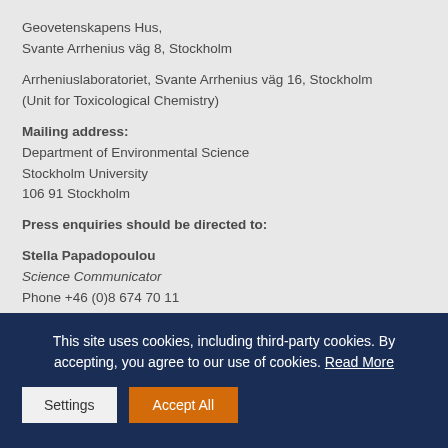Geovetenskapens Hus,
Svante Arrhenius väg 8, Stockholm
Arrheniuslaboratoriet, Svante Arrhenius väg 16, Stockholm
(Unit for Toxicological Chemistry)
Mailing address:
Department of Environmental Science
Stockholm University
106 91 Stockholm
Press enquiries should be directed to:
Stella Papadopoulou
Science Communicator
Phone +46 (0)8 674 70 11
stella.papadopoulou@aces.su.se
This site uses cookies, including third-party cookies. By accepting, you agree to our use of cookies. Read More
Settings
Accept All